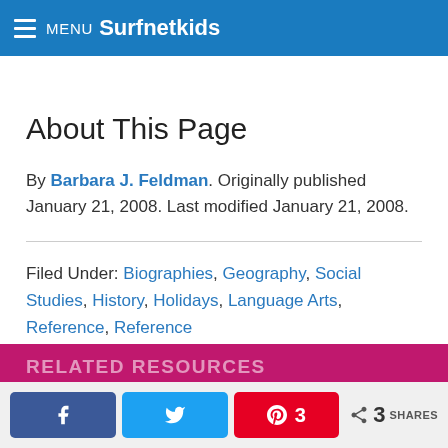MENU Surfnetkids
About This Page
By Barbara J. Feldman. Originally published January 21, 2008. Last modified January 21, 2008.
Filed Under: Biographies, Geography, Social Studies, History, Holidays, Language Arts, Reference, Reference
RELATED RESOURCES